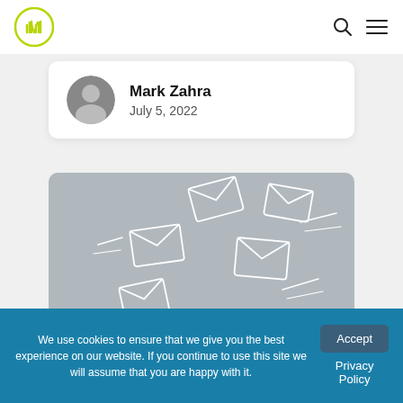Maropost logo, search icon, menu icon
Mark Zahra
July 5, 2022
[Figure (illustration): Gray illustrated background with multiple white line-art envelope icons flying around, representing email marketing concept]
We use cookies to ensure that we give you the best experience on our website. If you continue to use this site we will assume that you are happy with it.
Accept
Privacy Policy